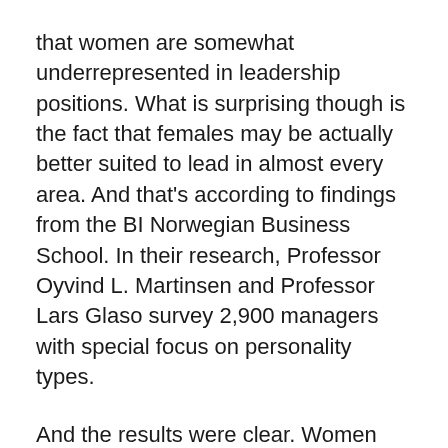that women are somewhat underrepresented in leadership positions. What is surprising though is the fact that females may be actually better suited to lead in almost every area. And that's according to findings from the BI Norwegian Business School. In their research, Professor Oyvind L. Martinsen and Professor Lars Glaso survey 2,900 managers with special focus on personality types.
And the results were clear. Women scored higher than men in four of the five major leadership centric categories. Business must always seek to attract customers and clients to increase productivity and profits. And our results show that women naturally rank higher in general than men on the ability to inspire and lead with clarity and